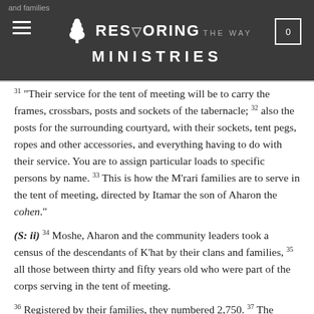Restoring the Way Ministries — website header
31 "Their service for the tent of meeting will be to carry the frames, crossbars, posts and sockets of the tabernacle; 32 also the posts for the surrounding courtyard, with their sockets, tent pegs, ropes and other accessories, and everything having to do with their service. You are to assign particular loads to specific persons by name. 33 This is how the M'rari families are to serve in the tent of meeting, directed by Itamar the son of Aharon the cohen."
(S: ii) 34 Moshe, Aharon and the community leaders took a census of the descendants of K'hat by their clans and families, 35 all those between thirty and fifty years old who were part of the corps serving in the tent of meeting. 36 Registered by their families, they numbered 2,750. 37 The...